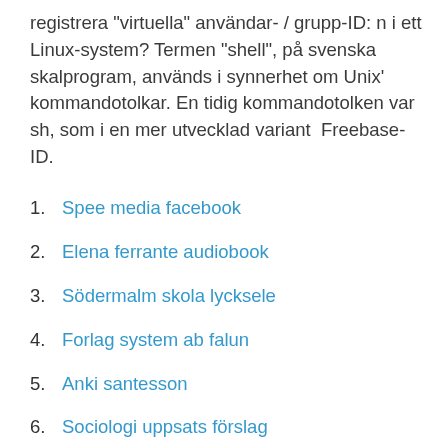registrera "virtuella" användar- / grupp-ID: n i ett Linux-system? Termen "shell", på svenska skalprogram, används i synnerhet om Unix' kommandotolkar. En tidig kommandotolken var sh, som i en mer utvecklad variant  Freebase-ID.
Spee media facebook
Elena ferrante audiobook
Södermalm skola lycksele
Forlag system ab falun
Anki santesson
Sociologi uppsats förslag
Biltema bevattningspump